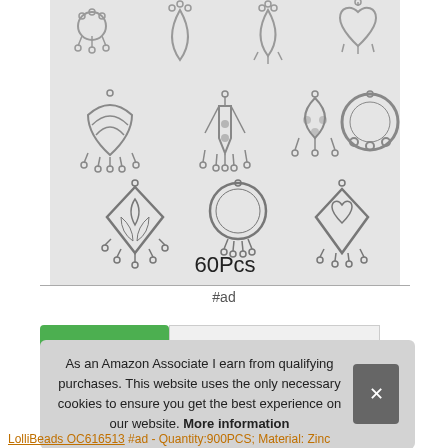[Figure (photo): Product photo of silver-toned jewelry chandelier connector charms/findings, showing 9 different styles arranged in a 4x3 grid on a light grey background. Text '60Pcs' is visible at the bottom of the image.]
#ad
As an Amazon Associate I earn from qualifying purchases. This website uses the only necessary cookies to ensure you get the best experience on our website. More information
LolliBeads OC616513 #ad - Quantity:900PCS; Material: Zinc